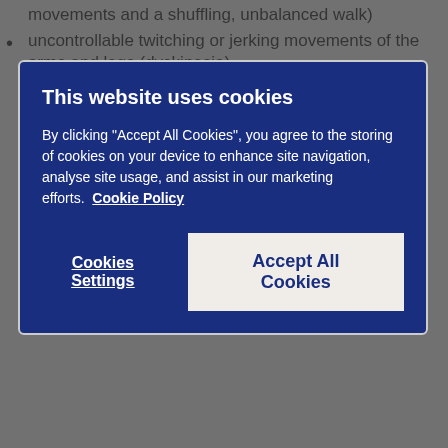movements and a shuffling, unbalanced walk)
uncontrollable twitching or jerking movements of the arms and legs (dyskinesia)
[Figure (screenshot): Cookie consent modal dialog with dark blue background. Title: 'This website uses cookies'. Body text: 'By clicking "Accept All Cookies", you agree to the storing of cookies on your device to enhance site navigation, analyse site usage, and assist in our marketing efforts. Cookie Policy'. Two buttons: 'Cookies Settings' (text link style) and 'Accept All Cookies' (light button).]
Common (may affect up to 1 in 10 people)
weakness
Not known (frequency cannot be estimated from the available data)
lack of periods in women, increased breast size or breast growth in men, impotence, abnormal milk production
high blood sugar (hyperglycaemia)